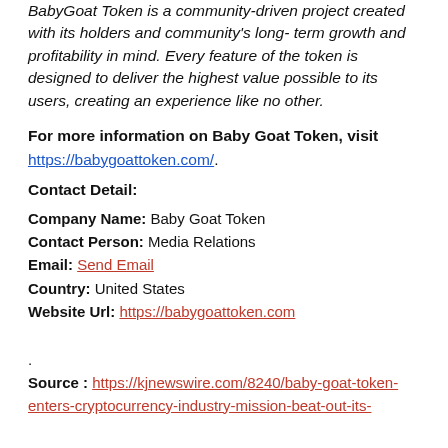BabyGoat Token is a community-driven project created with its holders and community's long- term growth and profitability in mind. Every feature of the token is designed to deliver the highest value possible to its users, creating an experience like no other.
For more information on Baby Goat Token, visit https://babygoattoken.com/.
Contact Detail:
Company Name: Baby Goat Token
Contact Person: Media Relations
Email: Send Email
Country: United States
Website Url: https://babygoattoken.com
.
Source : https://kjnewswire.com/8240/baby-goat-token-enters-cryptocurrency-industry-mission-beat-out-its-